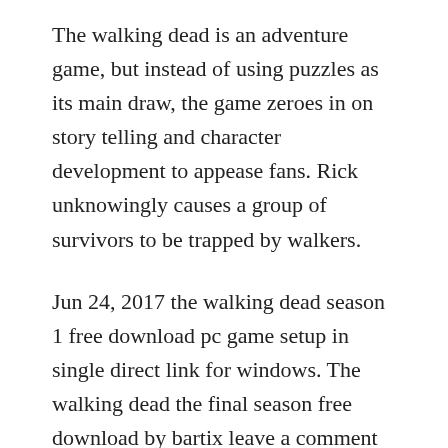The walking dead is an adventure game, but instead of using puzzles as its main draw, the game zeroes in on story telling and character development to appease fans. Rick unknowingly causes a group of survivors to be trapped by walkers.
Jun 24, 2017 the walking dead season 1 free download pc game setup in single direct link for windows. The walking dead the final season free download by bartix leave a comment the walking dead the final season tpp for pc, playstation 4, xbox one, nintendo